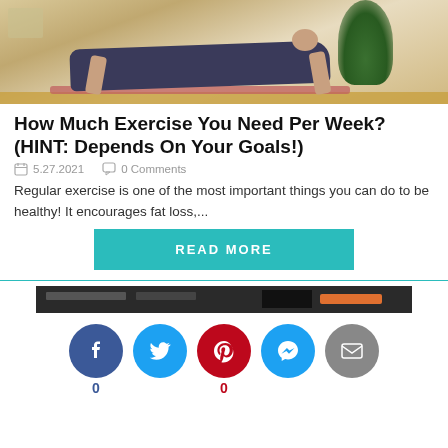[Figure (photo): Woman doing a plank exercise on a yoga mat indoors, with a plant in the background]
How Much Exercise You Need Per Week? (HINT: Depends On Your Goals!)
5.27.2021   0 Comments
Regular exercise is one of the most important things you can do to be healthy! It encourages fat loss,...
READ MORE
[Figure (screenshot): Preview of next article with dark background and orange bar]
[Figure (infographic): Social sharing buttons: Facebook (0), Twitter, Pinterest (0), Messenger, Email]